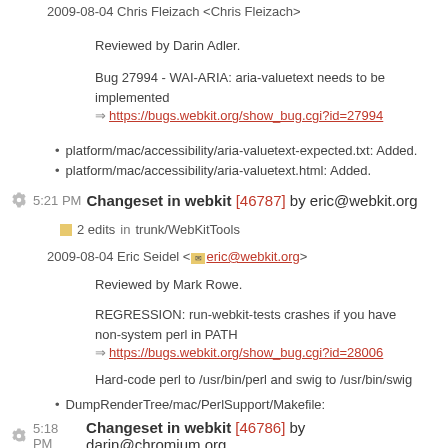2009-08-04 Chris Fleizach <Chris Fleizach>
Reviewed by Darin Adler.
Bug 27994 - WAI-ARIA: aria-valuetext needs to be implemented
https://bugs.webkit.org/show_bug.cgi?id=27994
platform/mac/accessibility/aria-valuetext-expected.txt: Added.
platform/mac/accessibility/aria-valuetext.html: Added.
5:21 PM Changeset in webkit [46787] by eric@webkit.org
2 edits in trunk/WebKitTools
2009-08-04 Eric Seidel <eric@webkit.org>
Reviewed by Mark Rowe.
REGRESSION: run-webkit-tests crashes if you have non-system perl in PATH
https://bugs.webkit.org/show_bug.cgi?id=28006
Hard-code perl to /usr/bin/perl and swig to /usr/bin/swig
DumpRenderTree/mac/PerlSupport/Makefile:
5:18 PM Changeset in webkit [46786] by darin@chromium.org
19 edits in trunk
2009-08-04 Michael Nordman <Michael Nordman>